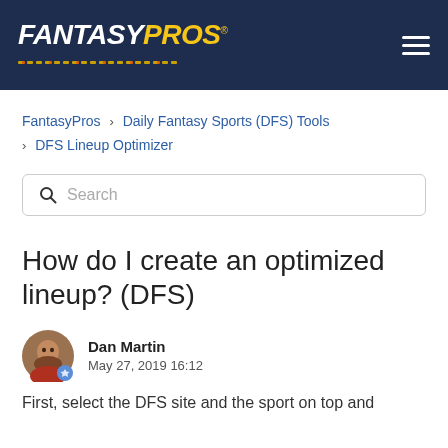FantasyPros
FantasyPros › Daily Fantasy Sports (DFS) Tools › DFS Lineup Optimizer
Search
How do I create an optimized lineup? (DFS)
Dan Martin
May 27, 2019 16:12
First, select the DFS site and the sport on top and